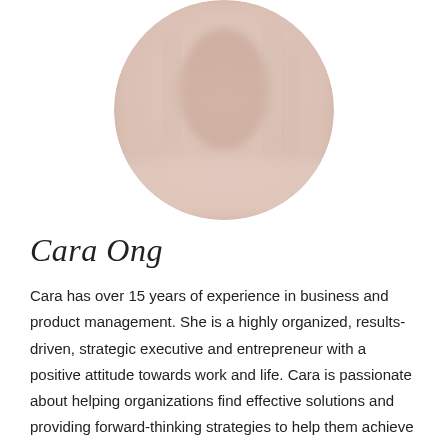[Figure (photo): Circular cropped profile photo of Cara Ong, showing a blurred/soft-focus image with warm beige and light tones]
Cara Ong
Cara has over 15 years of experience in business and product management. She is a highly organized, results-driven, strategic executive and entrepreneur with a positive attitude towards work and life. Cara is passionate about helping organizations find effective solutions and providing forward-thinking strategies to help them achieve their goals of operational efficiency. In her free time, Cara enjoys acrylic painting and golf.